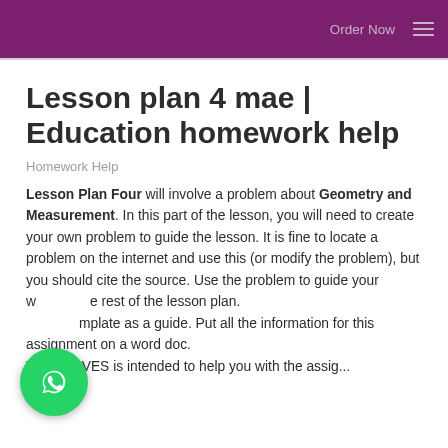Order Now
Lesson plan 4 mae | Education homework help
Homework Help
Lesson Plan Four will involve a problem about Geometry and Measurement. In this part of the lesson, you will need to create your own problem to guide the lesson. It is fine to locate a problem on the internet and use this (or modify the problem), but you should cite the source. Use the problem to guide your work, the rest of the lesson plan. Use the template as a guide. Put all the information for this assignment on a word doc. TALKMOVES is intended to help you with the review and to document